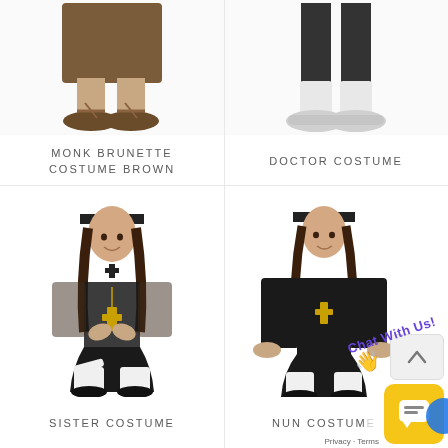[Figure (photo): Partial image of a person wearing sandals and brown monk costume, from feet up to thigh, cropped at top]
MONK BRUNETTE COSTUME BROWN
[Figure (photo): Partial image of a person wearing white sneakers/socks with dark pants, doctor costume, cropped]
DOCTOR COSTUME
[Figure (photo): Woman in black nun/sister costume with white thigh-high socks, gold cross necklace, white headpiece, hands in prayer pose, wearing black heels]
SISTER COSTUME
[Figure (photo): Woman in black nun costume with white thigh-high socks, gold cross necklace, white headpiece, long sleeves, black platform shoes]
NUN COSTUM